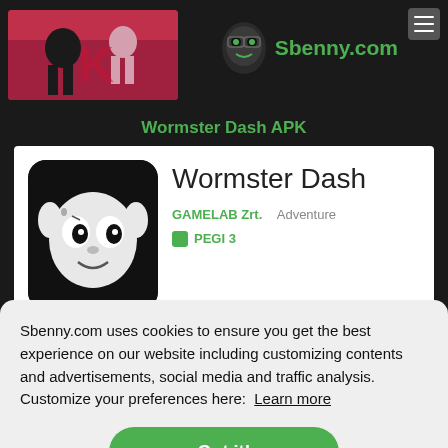[Figure (screenshot): Top banner with a game screenshot on the left and Sbenny.com logo on the right, on dark background]
Wormster Dash APK
[Figure (screenshot): App store listing card showing Wormster Dash app icon (black and white cartoon character on dark background), app title 'Wormster Dash', developer 'GAMELAB Zrt.', genre 'Adventure', rating 'PEGI 3']
Sbenny.com uses cookies to ensure you get the best experience on our website including customizing contents and advertisements, social media and traffic analysis. Customize your preferences here:  Learn more
Got it!
[Figure (screenshot): Bottom thumbnail of another game and text 'Offers in-app purchases']